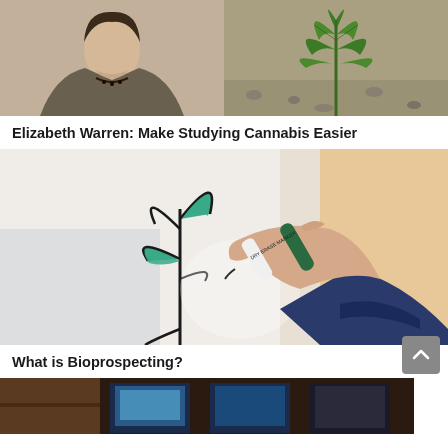[Figure (photo): Top left: portrait of Elizabeth Warren (woman in grey blazer with pearl necklace), top right: cannabis leaf on grey surface]
Elizabeth Warren: Make Studying Cannabis Easier
[Figure (photo): Hand drawing a plant illustration with a green marker on white paper]
What is Bioprospecting?
[Figure (photo): Partial view of a room with computer monitors/screens visible]